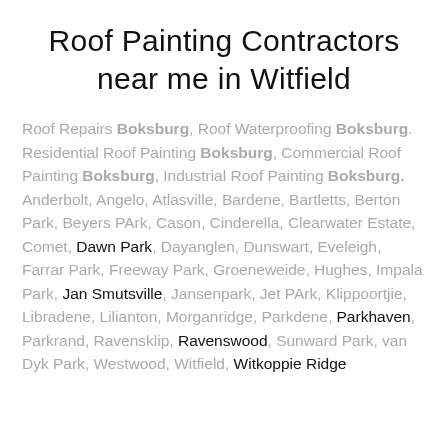Roof Painting Contractors near me in Witfield
Roof Repairs Boksburg, Roof Waterproofing Boksburg. Residential Roof Painting Boksburg, Commercial Roof Painting Boksburg, Industrial Roof Painting Boksburg. Anderbolt, Angelo, Atlasville, Bardene, Bartletts, Berton Park, Beyers PArk, Cason, Cinderella, Clearwater Estate, Comet, Dawn Park, Dayanglen, Dunswart, Eveleigh, Farrar Park, Freeway Park, Groeneweide, Hughes, Impala Park, Jan Smutsville, Jansenpark, Jet PArk, Klippoortjie, Libradene, Lilianton, Morganridge, Parkdene, Parkhaven, Parkrand, Ravensklip, Ravenswood, Sunward Park, van Dyk Park, Westwood, Witfield, Witkoppie Ridge